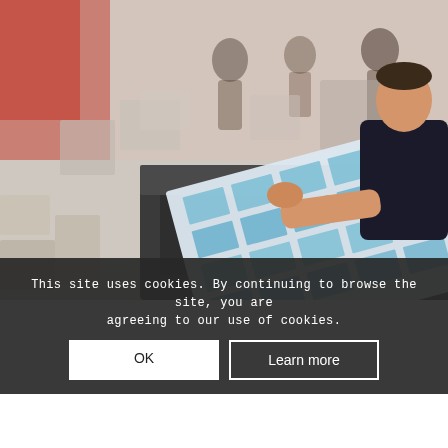[Figure (photo): A worker in a print shop operating a large printing machine. A sheet of printed materials (business cards or flyers) is visible on the machine. Several people work in the background in a busy print production environment.]
High Quality Printed Flyers
We pride o... being some of the most exper... printers in West
This site uses cookies. By continuing to browse the site, you are agreeing to our use of cookies.